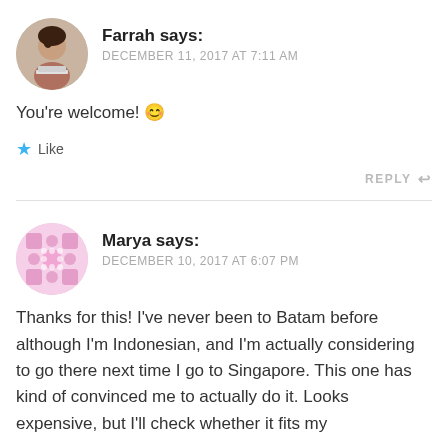[Figure (photo): Circular avatar photo of Farrah, showing a woman working on a laptop]
Farrah says:
DECEMBER 11, 2017 AT 7:11 AM
You're welcome! 😊
★ Like
REPLY ↩
[Figure (illustration): Circular avatar icon for Marya with a geometric pink/white pattern]
Marya says:
DECEMBER 10, 2017 AT 6:07 PM
Thanks for this! I've never been to Batam before although I'm Indonesian, and I'm actually considering to go there next time I go to Singapore. This one has kind of convinced me to actually do it. Looks expensive, but I'll check whether it fits my